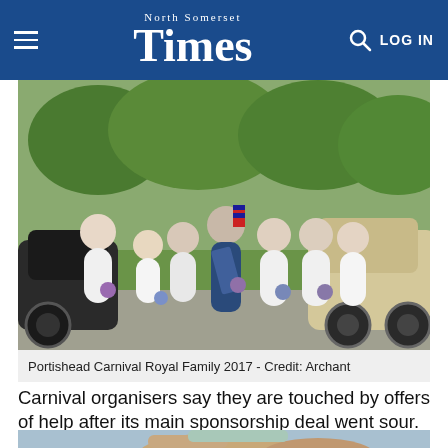North Somerset Times — LOG IN
[Figure (photo): Group of girls in white dresses holding flower bouquets, standing beside a vintage cream-coloured car. One taller girl in navy blue dress with a sash holds Union Jack flags. Trees and green grass in background. Portishead Carnival Royal Family 2017.]
Portishead Carnival Royal Family 2017 - Credit: Archant
Carnival organisers say they are touched by offers of help after its main sponsorship deal went sour.
[Figure (photo): Partial image of a woman's head and shoulders, outdoors, sky and trees visible in background.]